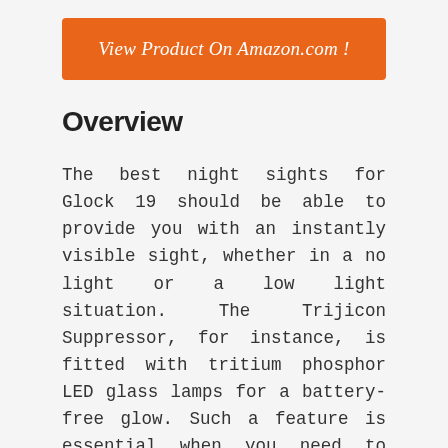View Product On Amazon.com !
Overview
The best night sights for Glock 19 should be able to provide you with an instantly visible sight, whether in a no light or a low light situation. The Trijicon Suppressor, for instance, is fitted with tritium phosphor LED glass lamps for a battery-free glow. Such a feature is essential when you need to find a picture in all lighting conditions.
It is one of those products that you should not hesitate to buy. An enhanced protective design is put in